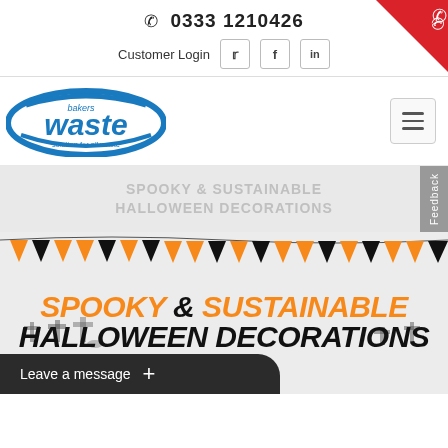☎ 0333 1210426
Customer Login
[Figure (logo): Bakers Waste – solution for all waste logo, blue oval with white 'waste' text]
SPOOKY & SUSTAINABLE HALLOWEEN DECORATIONS
[Figure (illustration): Halloween bunting in orange and black triangles, large bold text 'SPOOKY & SUSTAINABLE HALLOWEEN DECORATIONS', graveyard silhouette at bottom]
Leave a message  +